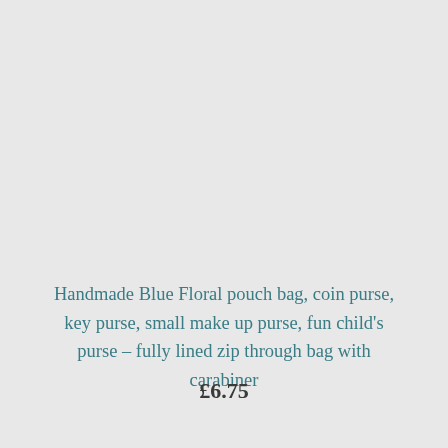Handmade Blue Floral pouch bag, coin purse, key purse, small make up purse, fun child's purse – fully lined zip through bag with carabiner
£6.75